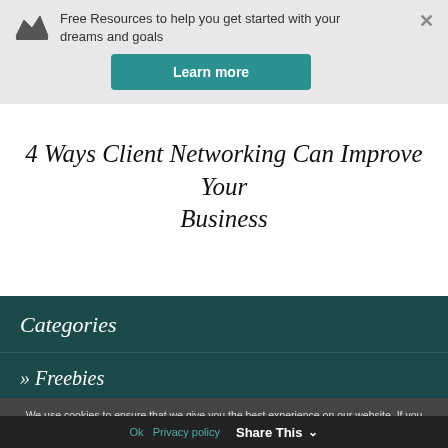Free Resources to help you get started with your dreams and goals
Learn more
4 Ways Client Networking Can Improve Your Business
Categories
» Freebies
We use cookies to ensure that we give you the best experience on our website. If you continue to use this site we will assume that you are happy with it.
Ok   Privacy policy   Share This